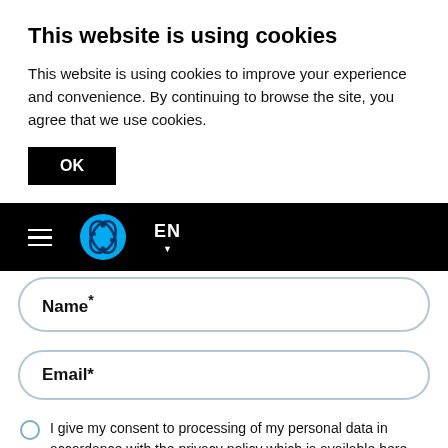This website is using cookies
This website is using cookies to improve your experience and convenience. By continuing to browse the site, you agree that we use cookies.
OK
[Figure (screenshot): Navigation bar with hamburger menu, blue DNA/helix logo circle, and EN language selector with dropdown arrow, on black background]
Name*
Email*
I give my consent to processing of my personal data in accordance with the privacy policy which is available here